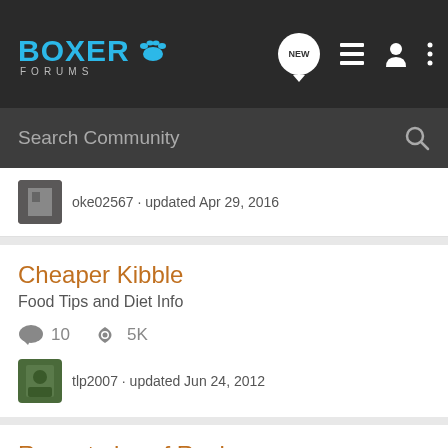Boxer Forums
Search Community
oke02567 · updated Apr 29, 2016
Cheaper Kibble
Food Tips and Diet Info
10  5K
tlp2007 · updated Jun 24, 2012
Recent pics of Rocko
Show Off
7  2K
RavenSkyfire · updated Nov 11, 2009